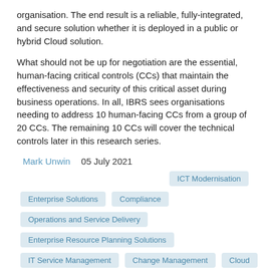organisation. The end result is a reliable, fully-integrated, and secure solution whether it is deployed in a public or hybrid Cloud solution.
What should not be up for negotiation are the essential, human-facing critical controls (CCs) that maintain the effectiveness and security of this critical asset during business operations. In all, IBRS sees organisations needing to address 10 human-facing CCs from a group of 20 CCs. The remaining 10 CCs will cover the technical controls later in this research series.
Mark Unwin   05 July 2021
ICT Modernisation
Enterprise Solutions
Compliance
Operations and Service Delivery
Enterprise Resource Planning Solutions
IT Service Management
Change Management
Cloud